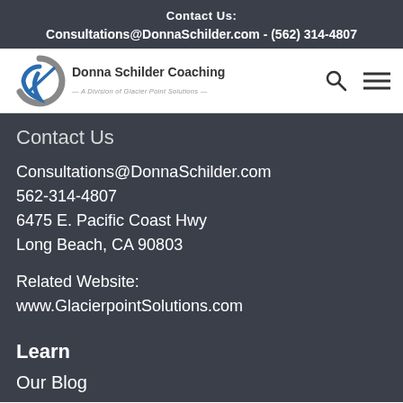Contact Us:
Consultations@DonnaSchilder.com - (562) 314-4807
[Figure (logo): Donna Schilder Coaching logo with circular swoosh graphic and text 'Donna Schilder Coaching - A Division of Glacier Point Solutions']
Contact Us
Consultations@DonnaSchilder.com
562-314-4807
6475 E. Pacific Coast Hwy
Long Beach, CA 90803
Related Website:
www.GlacierpointSolutions.com
Learn
Our Blog